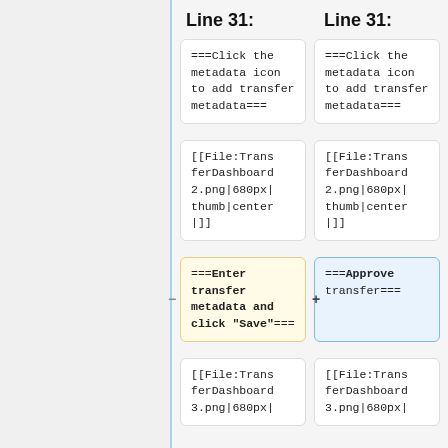Line 31:
Line 31:
===Click the metadata icon to add transfer metadata===
===Click the metadata icon to add transfer metadata===
[[File:TransferDashboard2.png|680px|thumb|center|]]
[[File:TransferDashboard2.png|680px|thumb|center|]]
===Enter transfer metadata and click "Save"===
===Approve transfer===
[[File:TransferDashboard3.png|680px|
[[File:TransferDashboard3.png|680px|